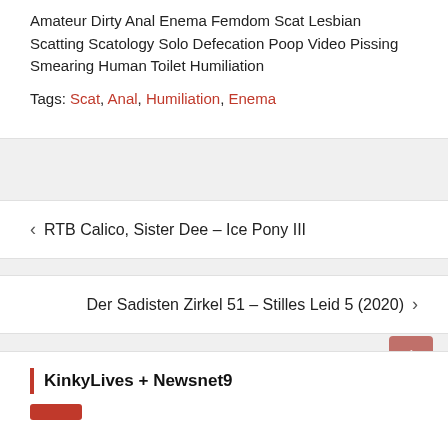Amateur Dirty Anal Enema Femdom Scat Lesbian Scatting Scatology Solo Defecation Poop Video Pissing Smearing Human Toilet Humiliation
Tags: Scat, Anal, Humiliation, Enema
< RTB Calico, Sister Dee – Ice Pony III
Der Sadisten Zirkel 51 – Stilles Leid 5 (2020) >
You must log in to post a comment.
KinkyLives + Newsnet9